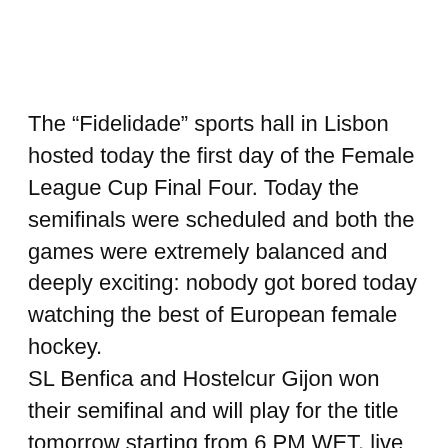The “Fidelidade” sports hall in Lisbon hosted today the first day of the Female League Cup Final Four. Today the semifinals were scheduled and both the games were extremely balanced and deeply exciting: nobody got bored today watching the best of European female hockey. SL Benfica and Hostelcur Gijon won their semifinal and will play for the title tomorrow starting from 6 PM WET, live both on Benfica TV and Cerh TV. The first semifinal between SL Benfica and CP Voltregà, the defending champion, has been one of the best female game of rink hockey ever played. In front of almost 2.000 shouting fans, the home team performed a compelling comeback, turning the result from 2-4 to 5-4 in the last six minutes of the game. CP Voltregà stayed ahead in the score for almost